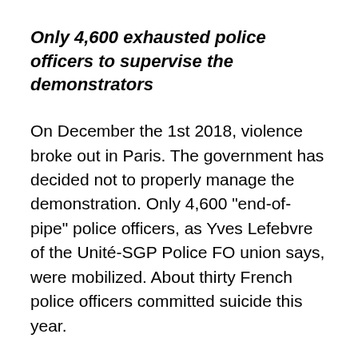Only 4,600 exhausted police officers to supervise the demonstrators
On December the 1st 2018, violence broke out in Paris. The government has decided not to properly manage the demonstration. Only 4,600 “end-of-pipe” police officers, as Yves Lefebvre of the Unité-SGP Police FO union says, were mobilized. About thirty French police officers committed suicide this year.
It should be noted that in most French regions, there was no violence. The movement remained peaceful, as usual.
Why does the government not start real